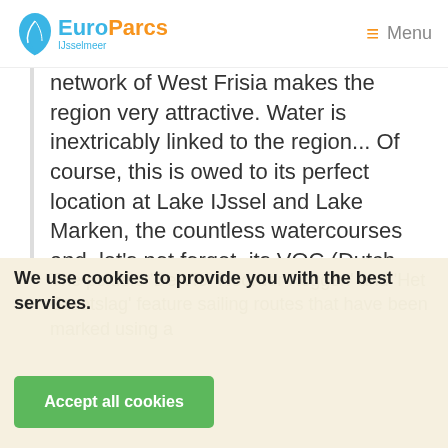EuroParcs IJsselmeer — Menu
network of West Frisia makes the region very attractive. Water is inextricably linked to the region... Of course, this is owed to its perfect location at Lake IJssel and Lake Marken, the countless watercourses and, let's not forget, its VOC (Dutch United East India Company) history.
We use cookies to provide you with the best services.
Accept all cookies